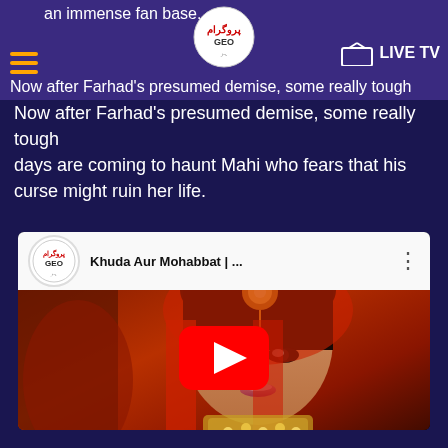an immense fan base. [Geo TV Logo] LIVE TV
Now after Farhad's presumed demise, some really tough days are coming to haunt Mahi who fears that his curse might ruin her life.
[Figure (screenshot): YouTube video thumbnail showing a woman in bridal attire (red dupatta, maangtika, necklace) with a red YouTube play button overlay. Video title reads 'Khuda Aur Mohabbat | ...' with Geo TV channel logo.]